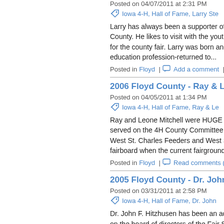Posted on 04/07/2011 at 2:31 PM
Iowa 4-H, Hall of Fame, Larry Ste...
Larry has always been a supporter of... County. He likes to visit with the youth... for the county fair. Larry was born and... education profession-returned to...
Posted in Floyd | Add a comment | Pe...
2006 Floyd County - Ray & Leon...
Posted on 04/05/2011 at 1:34 PM
Iowa 4-H, Hall of Fame, Ray & Le...
Ray and Leone Mitchell were HUGE s... served on the 4H County Committee ... West St. Charles Feeders and West S... fairboard when the current fairground...
Posted in Floyd | Read comments (1) |
2005 Floyd County - Dr. John F. H...
Posted on 03/31/2011 at 2:58 PM
Iowa 4-H, Hall of Fame, Dr. John...
Dr. John F. Hitzhusen has been an ad... on the board of directors of the Fair S... facilities for our 4-H youth exhibitors.
Posted in 2005, Floyd | Add a comment |